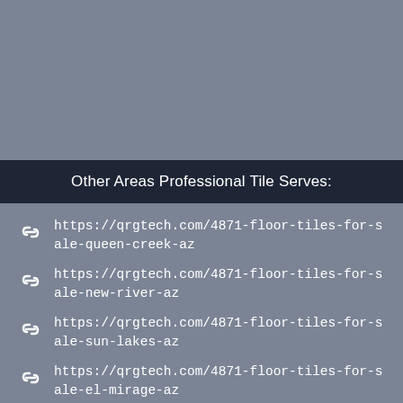Other Areas Professional Tile Serves:
https://qrgtech.com/4871-floor-tiles-for-sale-queen-creek-az
https://qrgtech.com/4871-floor-tiles-for-sale-new-river-az
https://qrgtech.com/4871-floor-tiles-for-sale-sun-lakes-az
https://qrgtech.com/4871-floor-tiles-for-sale-el-mirage-az
https://qrgtech.com/4871-floor-tiles-for-sale-carefree-az
https://qrgtech.com/4871-floor-tiles-for-sale-